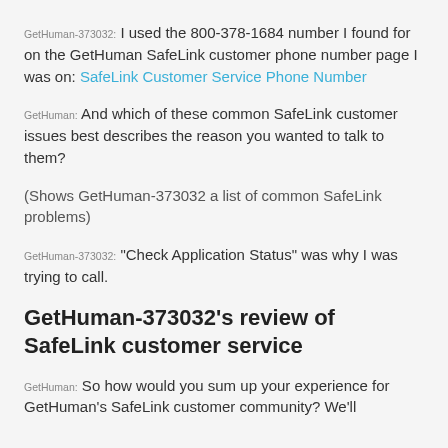GetHuman-373032: I used the 800-378-1684 number I found for on the GetHuman SafeLink customer phone number page I was on: SafeLink Customer Service Phone Number
GetHuman: And which of these common SafeLink customer issues best describes the reason you wanted to talk to them?
(Shows GetHuman-373032 a list of common SafeLink problems)
GetHuman-373032: "Check Application Status" was why I was trying to call.
GetHuman-373032's review of SafeLink customer service
GetHuman: So how would you sum up your experience for GetHuman's SafeLink customer community? We'll